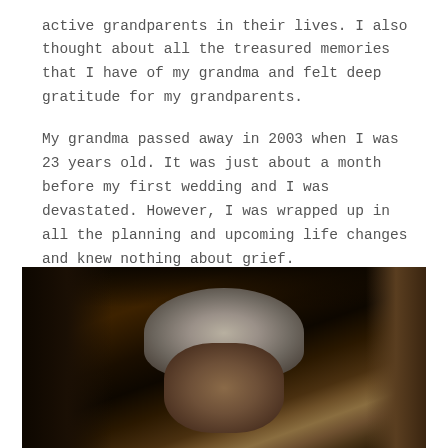active grandparents in their lives. I also thought about all the treasured memories that I have of my grandma and felt deep gratitude for my grandparents.
My grandma passed away in 2003 when I was 23 years old. It was just about a month before my first wedding and I was devastated. However, I was wrapped up in all the planning and upcoming life changes and knew nothing about grief.
[Figure (photo): A dark, blurry photograph of an elderly person with gray/white hair, photographed in dim lighting conditions.]